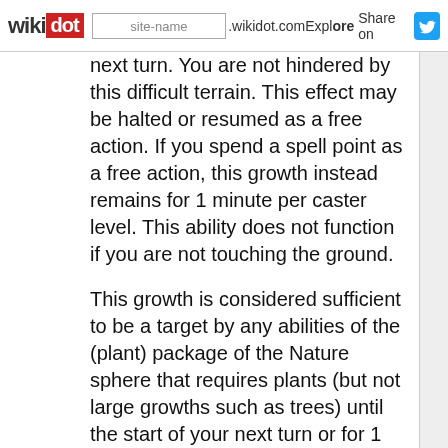wikidot | site-name .wikidot.com | Explore | Share on Twitter
next turn. You are not hindered by this difficult terrain. This effect may be halted or resumed as a free action. If you spend a spell point as a free action, this growth instead remains for 1 minute per caster level. This ability does not function if you are not touching the ground.
This growth is considered sufficient to be a target by any abilities of the (plant) package of the Nature sphere that requires plants (but not large growths such as trees) until the start of your next turn or for 1 minute per